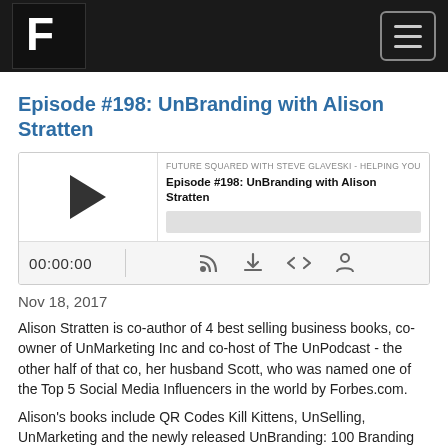Future Squared logo and navigation
Episode #198: UnBranding with Alison Stratten
[Figure (screenshot): Podcast audio player widget showing episode title 'Episode #198: UnBranding with Alison Stratten', with play button, progress bar, time display 00:00:00, and podcast controls (RSS, download, embed, share icons). Podcast name: FUTURE SQUARED WITH STEVE GLAVESKI - HELPING YOU NAVIG]
Nov 18, 2017
Alison Stratten is co-author of 4 best selling business books, co-owner of UnMarketing Inc and co-host of The UnPodcast - the other half of that co, her husband Scott, who was named one of the Top 5 Social Media Influencers in the world by Forbes.com.
Alison's books include QR Codes Kill Kittens, UnSelling, UnMarketing and the newly released UnBranding: 100 Branding Lessons for the Age of Disruption.